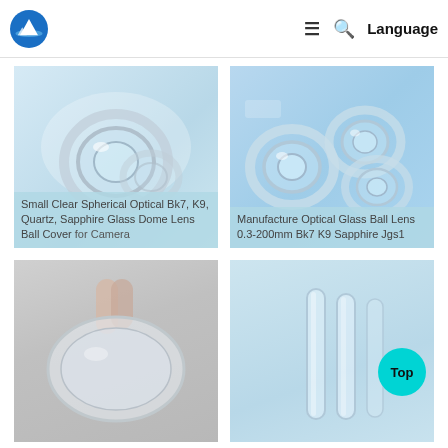Logo | ≡ 🔍 Language
[Figure (photo): Small Clear Spherical Optical Bk7, K9, Quartz, Sapphire Glass Dome Lens Ball Cover for Camera — glass dome/ball lens product photo on light blue background]
Small Clear Spherical Optical Bk7, K9, Quartz, Sapphire Glass Dome Lens Ball Cover for Camera
[Figure (photo): Manufacture Optical Glass Ball Lens 0.3-200mm Bk7 K9 Sapphire Jgs1 — multiple glass ball lenses on blue background]
Manufacture Optical Glass Ball Lens 0.3-200mm Bk7 K9 Sapphire Jgs1
[Figure (photo): Clear optical glass disc lens held between fingers on grey background]
[Figure (photo): Clear glass rods / optical fiber rods on light blue background]